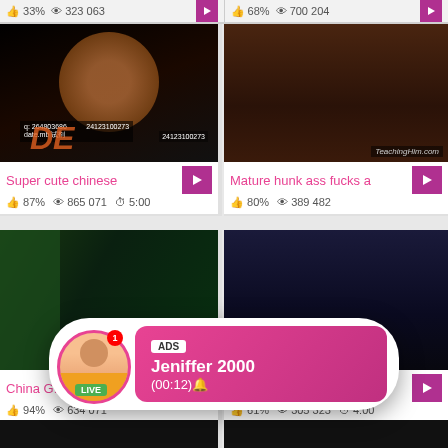[Figure (screenshot): Top strip showing stats: 33% heart icon, 323 063 views, play button | 68% heart icon, 700 204 views, play button]
[Figure (photo): Thumbnail of young asian male in orange shirt]
Super cute chinese
87%   865 071   5:00
[Figure (photo): Thumbnail of mature muscular man with younger person on bed, TeachingHim.com watermark]
Mature hunk ass fucks a
80%   389 482
[Figure (photo): Thumbnail of couple in room, green background]
China G...
94%   634 071
[Figure (photo): Thumbnail of bearded man looking at phone, sitting on bed]
61%   305 323   4:00
[Figure (screenshot): Ad overlay popup with circular avatar of woman in yellow top, LIVE badge, notification badge showing 1, ADS tag, name Jeniffer 2000, time (00:12)]
ADS
Jeniffer 2000
(00:12)🔔